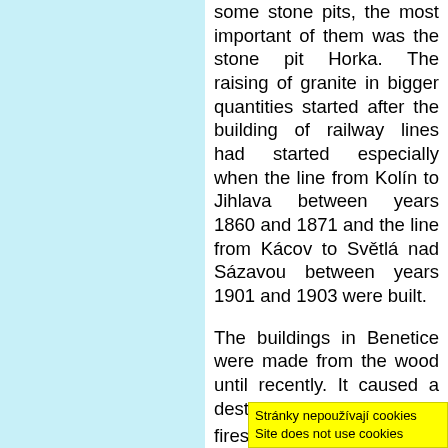some stone pits, the most important of them was the stone pit Horka. The raising of granite in bigger quantities started after the building of railway lines had started especially when the line from Kolín to Jihlava between years 1860 and 1871 and the line from Kácov to Světlá nad Sázavou between years 1901 and 1903 were built.
The buildings in Benetice were made from the wood until recently. It caused a destructive fire. One of the fires occured on the 29th of November 1936 that dest... houses in...
Stránky nepoužívají cookies
Site does not use cookies